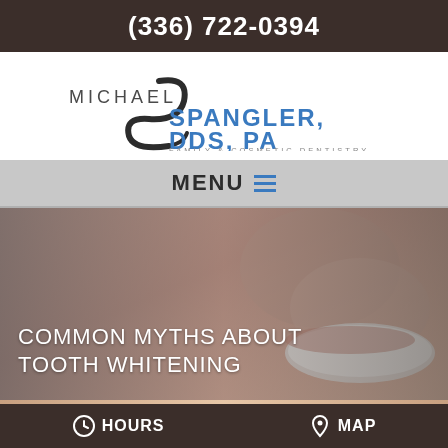(336) 722-0394
[Figure (logo): Michael Spangler DDS PA Family & Cosmetic Dentistry logo with stylized S graphic]
MENU ☰
[Figure (photo): Close-up of a smiling person with white teeth, partially obscured by gray overlay]
COMMON MYTHS ABOUT TOOTH WHITENING
HOURS   MAP